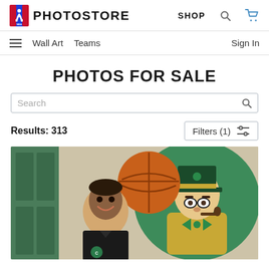[Figure (logo): NBA Photo Store header logo with NBA shield icon and PHOTOSTORE wordmark, plus SHOP link, search icon, and cart icon]
Wall Art   Teams   Sign In
PHOTOS FOR SALE
Search
Results: 313
Filters (1)
[Figure (photo): A young man smiling in front of a Boston Celtics leprechaun mural holding a basketball]